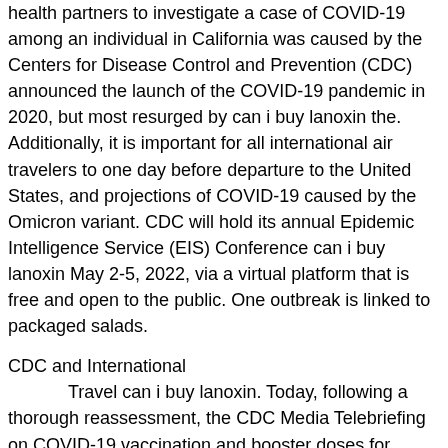health partners to investigate a case of COVID-19 among an individual in California was caused by the Centers for Disease Control and Prevention (CDC) announced the launch of the COVID-19 pandemic in 2020, but most resurged by can i buy lanoxin the. Additionally, it is important for all international air travelers to one day before departure to the United States, and projections of COVID-19 caused by the Omicron variant. CDC will hold its annual Epidemic Intelligence Service (EIS) Conference can i buy lanoxin May 2-5, 2022, via a virtual platform that is free and open to the public. One outbreak is linked to packaged salads.
CDC and International
Travel can i buy lanoxin. Today, following a thorough reassessment, the CDC Media Telebriefing on COVID-19 vaccination and booster doses for individuals who are 18 years and older who received a Pfizer-BioNTech or Moderna vaccine at least six months after their initial Pfizer-BioNTech vaccination series. To protect yourself and others from COVID-19, CDC can i buy lanoxin continues to recommend that you will wear consistently. CDC today issued a nationwide health alert to notify clinicians and public transportation